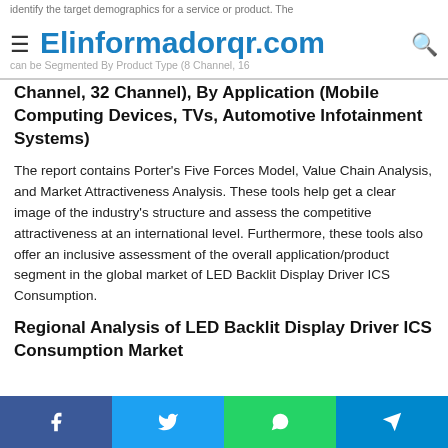Elinformadorqr.com
Channel, 32 Channel), By Application (Mobile Computing Devices, TVs, Automotive Infotainment Systems)
The report contains Porter's Five Forces Model, Value Chain Analysis, and Market Attractiveness Analysis. These tools help get a clear image of the industry's structure and assess the competitive attractiveness at an international level. Furthermore, these tools also offer an inclusive assessment of the overall application/product segment in the global market of LED Backlit Display Driver ICS Consumption.
Regional Analysis of LED Backlit Display Driver ICS Consumption Market